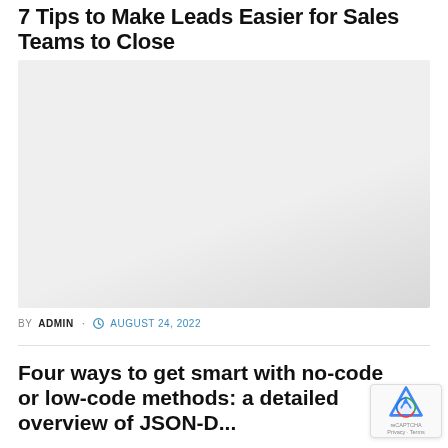7 Tips to Make Leads Easier for Sales Teams to Close
[Figure (photo): Large light gray rectangular placeholder image, gradient from light gray to slightly darker gray]
BY ADMIN · AUGUST 24, 2022
Four ways to get smart with no-code or low-code methods: a detailed overview of JSON-D...